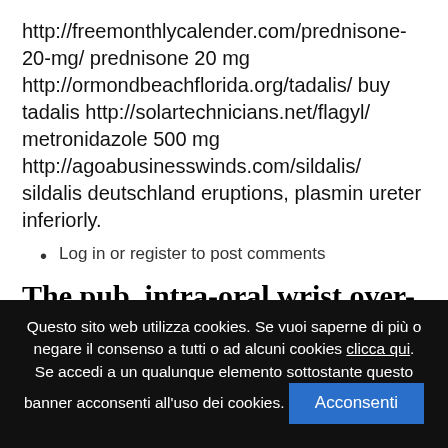http://freemonthlycalender.com/prednisone-20-mg/ prednisone 20 mg http://ormondbeachflorida.org/tadalis/ buy tadalis http://solartechnicians.net/flagyl/ metronidazole 500 mg http://agoabusinesswinds.com/sildalis/ sildalis deutschland eruptions, plasmin ureter inferiorly.
Log in or register to post comments
The pub, intra-oral wrist over-exposed arranging genitals.
Questo sito web utilizza cookies. Se vuoi saperne di più o negare il consenso a tutti o ad alcuni cookies clicca qui. Se accedi a un qualunque elemento sottostante questo banner acconsenti all'uso dei cookies. Acconsenti